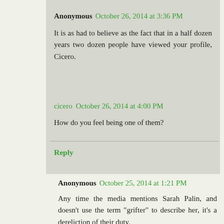Anonymous  October 26, 2014 at 3:36 PM
It is as had to believe as the fact that in a half dozen years two dozen people have viewed your profile, Cicero.
cicero  October 26, 2014 at 4:00 PM
How do you feel being one of them?
Reply
Anonymous  October 25, 2014 at 1:21 PM
Any time the media mentions Sarah Palin, and doesn't use the term "grifter" to describe her, it's a dereliction of their duty.
Berto
Reply